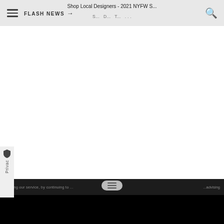FLASH NEWS → | Shop Local Designers - 2021 NYFW S... | 🔍
Shop Local Designers - 2021 NYFW S...
Privacy
Utilizing our service, by continuing to use this site, you agree to our privacy...